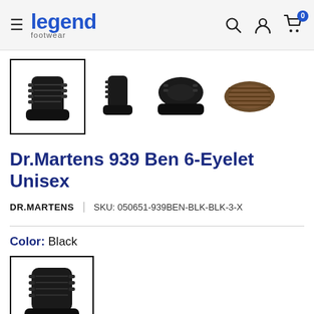Legend Footwear — navigation header with hamburger menu, search, account, and cart icons
[Figure (photo): Product thumbnail images of Dr.Martens 939 Ben boot — front view (selected/highlighted), side view, angled top view, sole view]
Dr.Martens 939 Ben 6-Eyelet Unisex
DR.MARTENS   |   SKU: 050651-939BEN-BLK-BLK-3-X
Color:  Black
[Figure (photo): Black color swatch thumbnail of Dr.Martens 939 Ben boot (selected)]
Size:  UK 3